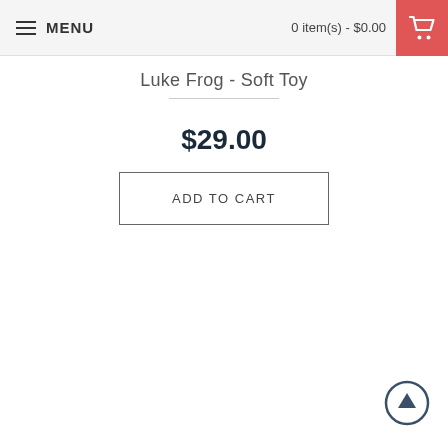MENU   0 item(s) - $0.00
Luke Frog - Soft Toy
$29.00
ADD TO CART